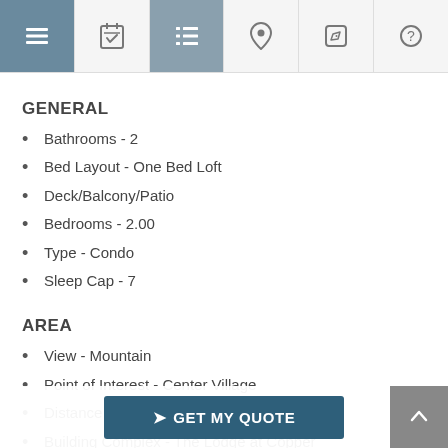Navigation bar with icons: menu, calendar, list, location pin, edit, help
GENERAL
Bathrooms - 2
Bed Layout - One Bed Loft
Deck/Balcony/Patio
Bedrooms - 2.00
Type - Condo
Sleep Cap - 7
AREA
View - Mountain
Point of Interest - Center Village
Distance to Shuttle - Short Walk
Building Complex - The Lodge at Copper
Location - Copper Mtn
Distance to...
GET MY QUOTE